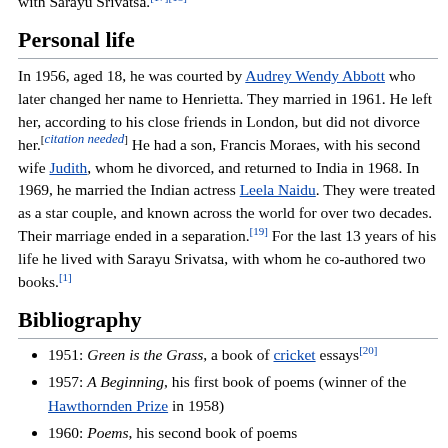Moraes ended his writing career, writing books in collaboration with Sarayu Srivatsa.[17][18]
Personal life
In 1956, aged 18, he was courted by Audrey Wendy Abbott who later changed her name to Henrietta. They married in 1961. He left her, according to his close friends in London, but did not divorce her.[citation needed] He had a son, Francis Moraes, with his second wife Judith, whom he divorced, and returned to India in 1968. In 1969, he married the Indian actress Leela Naidu. They were treated as a star couple, and known across the world for over two decades. Their marriage ended in a separation.[19] For the last 13 years of his life he lived with Sarayu Srivatsa, with whom he co-authored two books.[1]
Bibliography
1951: Green is the Grass, a book of cricket essays[20]
1957: A Beginning, his first book of poems (winner of the Hawthornden Prize in 1958)
1960: Poems, his second book of poems
1960: Gone Away: An Indian Journey, memoir